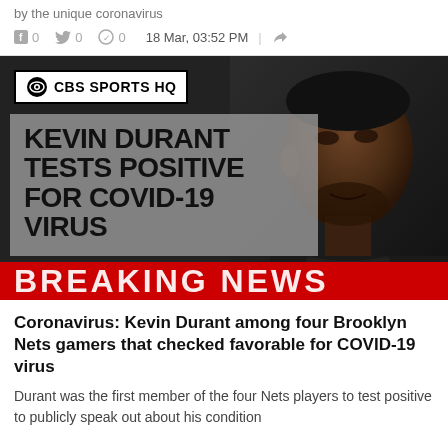by the unique coronavirus
f 0   0   0   18 Mar, 03:52 PM  |
[Figure (photo): CBS Sports HQ news graphic showing Kevin Durant Tests Positive For COVID-19 Virus with a Breaking News red bar at the bottom, and a photo of Kevin Durant on the right side]
Coronavirus: Kevin Durant among four Brooklyn Nets gamers that checked favorable for COVID-19 virus
Durant was the first member of the four Nets players to test positive to publicly speak out about his condition